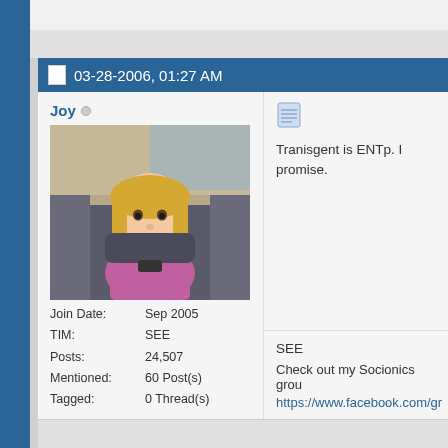03-28-2006, 01:27 AM
[Figure (photo): Profile photo of user Joy - a young blonde child sitting in a car seat wearing a pink/purple shirt]
Joy
Join Date: Sep 2005
TIM: SEE
Posts: 24,507
Mentioned: 60 Post(s)
Tagged: 0 Thread(s)
Tranisgent is ENTp. I promise.
SEE
Check out my Socionics grou
https://www.facebook.com/gr